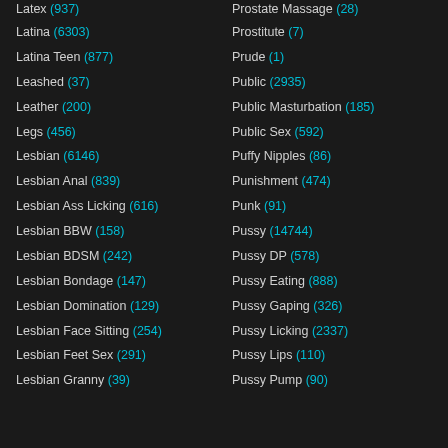Latex (937)
Prostate Massage (28)
Latina (6303)
Prostitute (7)
Latina Teen (877)
Prude (1)
Leashed (37)
Public (2935)
Leather (200)
Public Masturbation (185)
Legs (456)
Public Sex (592)
Lesbian (6146)
Puffy Nipples (86)
Lesbian Anal (839)
Punishment (474)
Lesbian Ass Licking (616)
Punk (91)
Lesbian BBW (158)
Pussy (14744)
Lesbian BDSM (242)
Pussy DP (578)
Lesbian Bondage (147)
Pussy Eating (888)
Lesbian Domination (129)
Pussy Gaping (326)
Lesbian Face Sitting (254)
Pussy Licking (2337)
Lesbian Feet Sex (291)
Pussy Lips (110)
Lesbian Granny (39)
Pussy Pump (90)